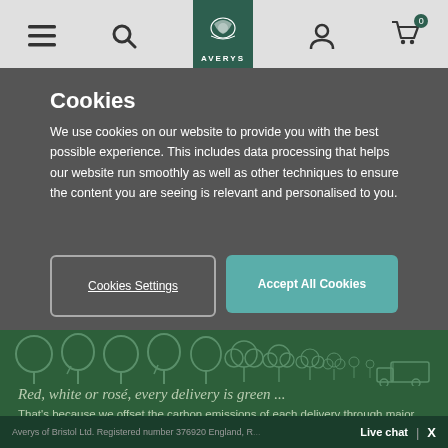[Figure (screenshot): Averys wine website navigation bar with hamburger menu, search icon, Averys logo, user icon, and cart icon with 0 badge]
Cookies
We use cookies on our website to provide you with the best possible experience. This includes data processing that helps our website run smoothly as well as other techniques to ensure the content you are seeing is relevant and personalised to you.
Cookies Settings | Accept All Cookies
[Figure (illustration): Row of tree icons fading in size from large to small, followed by a delivery truck icon, on green background]
Red, white or rosé, every delivery is green ...
That's because we offset the carbon emissions of each delivery through major reforestation projects.
Averys of Bristol Ltd. Registered number 376920 England, R... | Live chat | X